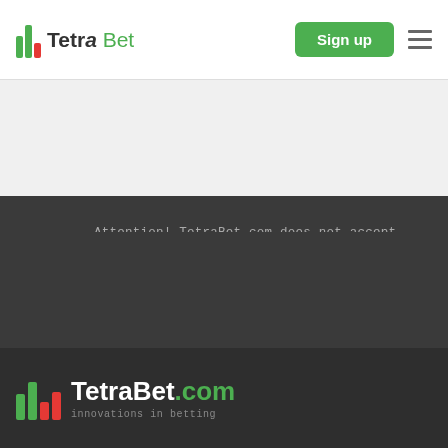[Figure (logo): TetraBet logo with colored bar chart icon and text 'Tetra Bet' in dark/green]
[Figure (logo): Sign up green button and hamburger menu icon in header]
Attention! TetraBet.com does not accept bets or play games for money, but only provides consulting services in the form of predictions of the results of sports events.
[Figure (logo): TetraBet.com footer logo with colored bar chart icon and tagline 'innovations in betting']